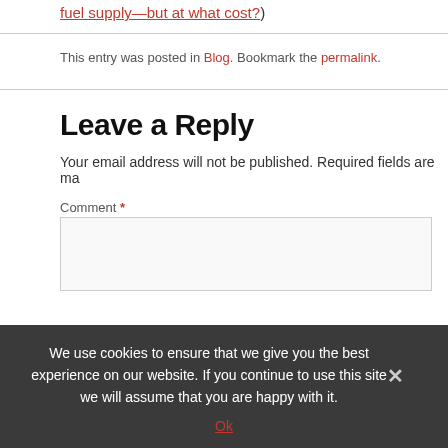fuel supply—but at what cost?)
This entry was posted in Blog. Bookmark the permalink.
Leave a Reply
Your email address will not be published. Required fields are ma
Comment *
We use cookies to ensure that we give you the best experience on our website. If you continue to use this site we will assume that you are happy with it. Ok